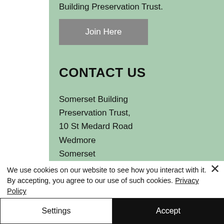Building Preservation Trust.
Join Here
CONTACT US
Somerset Building Preservation Trust,
10 St Medard Road
Wedmore
Somerset
BS28 4AY
We use cookies on our website to see how you interact with it. By accepting, you agree to our use of such cookies. Privacy Policy
Settings
Accept